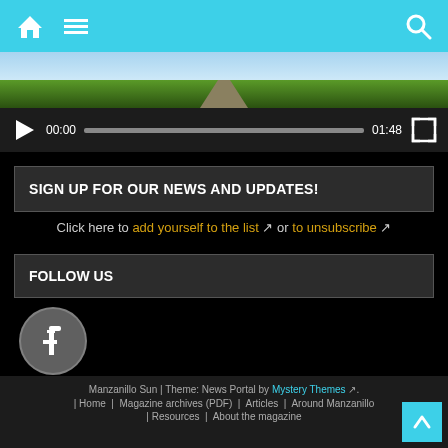Navigation bar with home, menu, and search icons
[Figure (screenshot): Video thumbnail showing green landscape road]
[Figure (screenshot): Video player bar with play button, timecode 00:00, progress bar, end time 01:48, and fullscreen button]
SIGN UP FOR OUR NEWS AND UPDATES!
Click here to add yourself to the list or to unsubscribe
FOLLOW US
[Figure (logo): Facebook circular logo icon in grayscale]
Manzanillo Sun | Theme: News Portal by Mystery Themes . | Home | Magazine archives (PDF) | Articles | Around Manzanillo | Resources | About the magazine